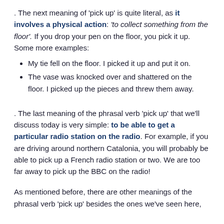. The next meaning of 'pick up' is quite literal, as it involves a physical action: 'to collect something from the floor'. If you drop your pen on the floor, you pick it up. Some more examples:
My tie fell on the floor. I picked it up and put it on.
The vase was knocked over and shattered on the floor. I picked up the pieces and threw them away.
. The last meaning of the phrasal verb 'pick up' that we'll discuss today is very simple: to be able to get a particular radio station on the radio. For example, if you are driving around northern Catalonia, you will probably be able to pick up a French radio station or two. We are too far away to pick up the BBC on the radio!
As mentioned before, there are other meanings of the phrasal verb 'pick up' besides the ones we've seen here,